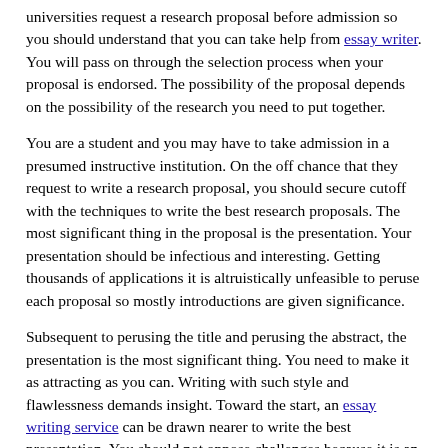universities request a research proposal before admission so you should understand that you can take help from essay writer. You will pass on through the selection process when your proposal is endorsed. The possibility of the proposal depends on the possibility of the research you need to put together.
You are a student and you may have to take admission in a presumed instructive institution. On the off chance that they request to write a research proposal, you should secure cutoff with the techniques to write the best research proposals. The most significant thing in the proposal is the presentation. Your presentation should be infectious and interesting. Getting thousands of applications it is altruistically unfeasible to peruse each proposal so mostly introductions are given significance.
Subsequent to perusing the title and perusing the abstract, the presentation is the most significant thing. You need to make it as attracting as you can. Writing with such style and flawlessness demands insight. Toward the start, an essay writing service can be drawn nearer to write the best presentation. You should not oppose challenges because it is an issue of your future. With time you can learn and will understand the best writing style.